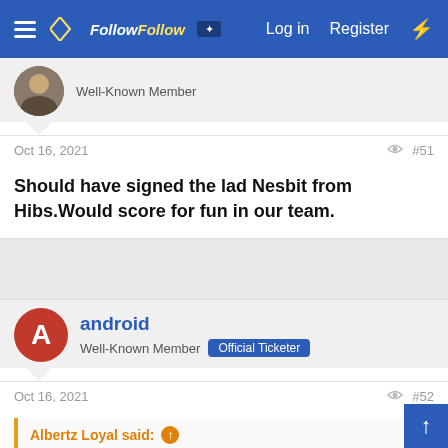FollowFollow — Log in | Register
Well-Known Member
Oct 16, 2021  #51
Should have signed the lad Nesbit from Hibs.Would score for fun in our team.
android
Well-Known Member  Official Ticketer
Oct 16, 2021  #52
Albertz Loyal said:
Has to be the number goal in January. Need to stop just bolstering the squad. We should sell 3 squad players and invest in a better goal scorer.